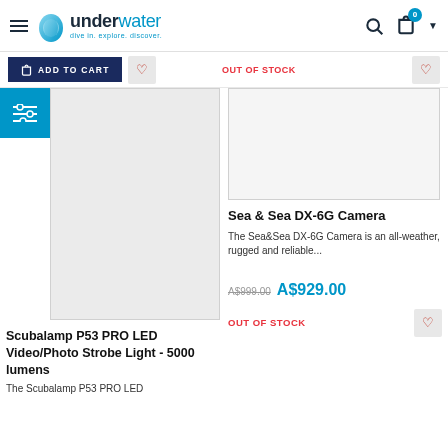underwater - dive in. explore. discover.
[Figure (screenshot): E-commerce website header for 'underwater' with logo, search icon, cart icon with badge showing 0, and dropdown chevron]
ADD TO CART
OUT OF STOCK
[Figure (photo): Product image placeholder (light gray) for Scubalamp P53 PRO LED Video/Photo Strobe Light]
[Figure (photo): Product image placeholder (white/light gray) for Sea & Sea DX-6G Camera]
Sea & Sea DX-6G Camera
The Sea&Sea DX-6G Camera is an all-weather, rugged and reliable...
A$999.00 A$929.00
OUT OF STOCK
Scubalamp P53 PRO LED Video/Photo Strobe Light - 5000 lumens
The Scubalamp P53 PRO LED